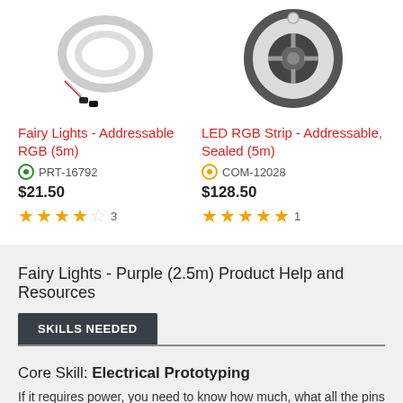[Figure (photo): Product image of Fairy Lights - Addressable RGB (5m), coiled wire with connector]
[Figure (photo): Product image of LED RGB Strip - Addressable, Sealed (5m), black reel]
Fairy Lights - Addressable RGB (5m)
PRT-16792
$21.50
3 reviews, 3.5 stars
LED RGB Strip - Addressable, Sealed (5m)
COM-12028
$128.50
1 review, 5 stars
Fairy Lights - Purple (2.5m) Product Help and Resources
SKILLS NEEDED
Core Skill: Electrical Prototyping
If it requires power, you need to know how much, what all the pins